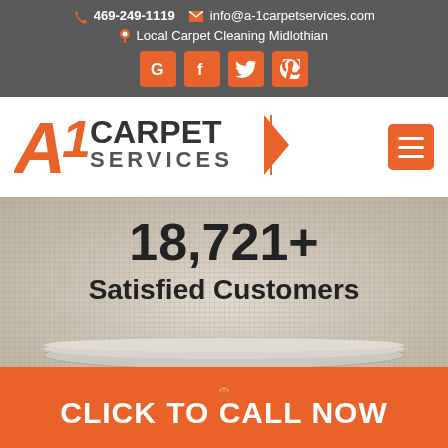469-249-1119  info@a-1carpetservices.com  Local Carpet Cleaning Midlothian
[Figure (logo): A1 Carpet Services logo with orange A1 mark and dark text reading CARPET SERVICES]
18,721+
Satisfied Customers
CLICK TO CALL NOW